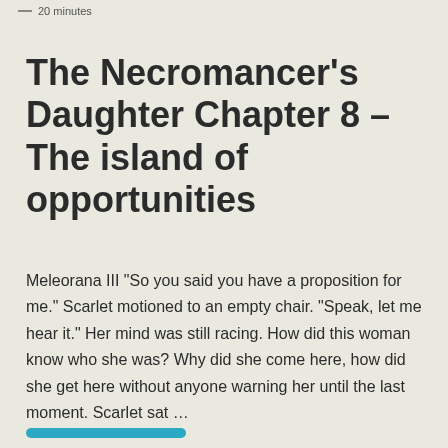— 20 minutes
The Necromancer's Daughter Chapter 8 – The island of opportunities
Meleorana III "So you said you have a proposition for me." Scarlet motioned to an empty chair. "Speak, let me hear it." Her mind was still racing. How did this woman know who she was? Why did she come here, how did she get here without anyone warning her until the last moment. Scarlet sat …